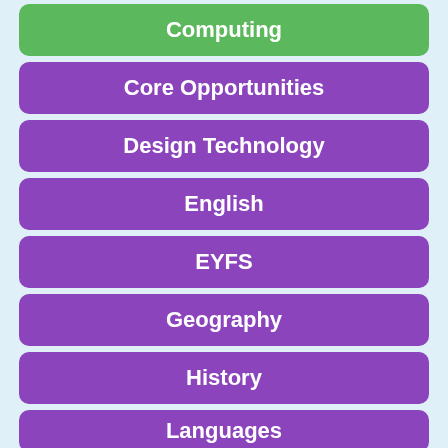Computing
Core Opportunities
Design Technology
English
EYFS
Geography
History
Languages